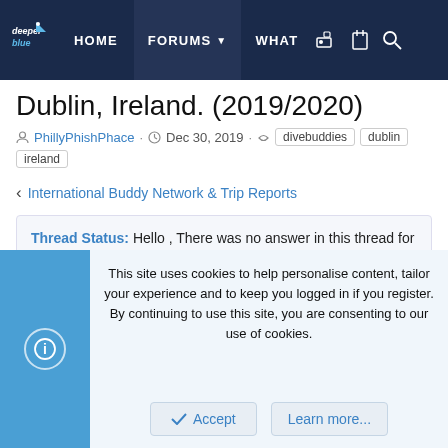deeper blue | HOME | FORUMS | WHAT
Dublin, Ireland. (2019/2020)
PhillyPhishPhace · Dec 30, 2019 · divebuddies dublin ireland
< International Buddy Network & Trip Reports
Thread Status: Hello , There was no answer in this thread for more than 60 days.
It can take a long time to get an up-to-date response or contact with relevant users.
This site uses cookies to help personalise content, tailor your experience and to keep you logged in if you register.
By continuing to use this site, you are consenting to our use of cookies.